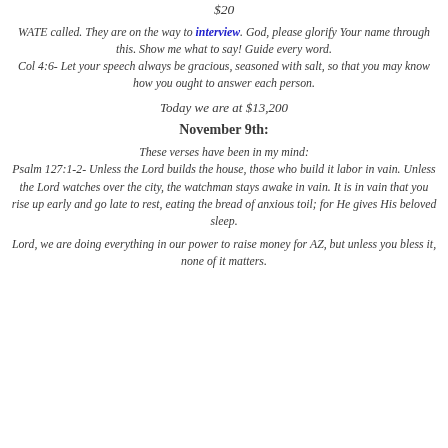$20
WATE called. They are on the way to interview. God, please glorify Your name through this. Show me what to say! Guide every word.
Col 4:6- Let your speech always be gracious, seasoned with salt, so that you may know how you ought to answer each person.
Today we are at $13,200
November 9th:
These verses have been in my mind:
Psalm 127:1-2- Unless the Lord builds the house, those who build it labor in vain. Unless the Lord watches over the city, the watchman stays awake in vain. It is in vain that you rise up early and go late to rest, eating the bread of anxious toil; for He gives His beloved sleep.
Lord, we are doing everything in our power to raise money for AZ, but unless you bless it, none of it matters.